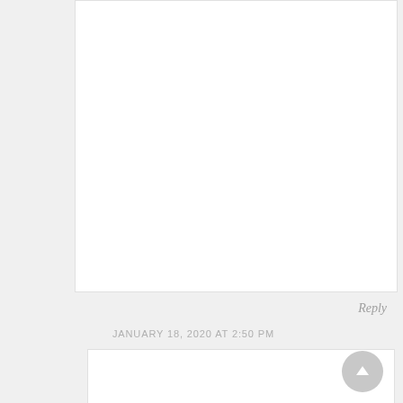[Figure (other): White comment/text box at top portion of page, empty content area]
Reply
JANUARY 18, 2020 AT 2:50 PM
[Figure (other): White comment/text box at bottom portion of page, partially visible, with a circular scroll-to-top button overlaid on the right side]